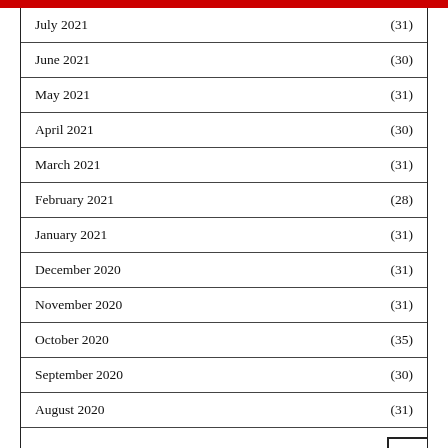| Month | Value |
| --- | --- |
| July 2021 | (31) |
| June 2021 | (30) |
| May 2021 | (31) |
| April 2021 | (30) |
| March 2021 | (31) |
| February 2021 | (28) |
| January 2021 | (31) |
| December 2020 | (31) |
| November 2020 | (31) |
| October 2020 | (35) |
| September 2020 | (30) |
| August 2020 | (31) |
| July 2020 |  |
| June 2020 | (30) |